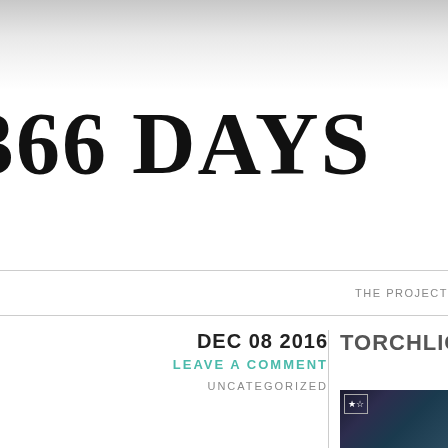366 DAYS
THE PROJECT
DEC 08 2016
LEAVE A COMMENT
UNCATEGORIZED
TORCHLIGHT
[Figure (photo): Dark screenshot or photo, partially visible, with a small star/bookmark icon overlay in top left corner]